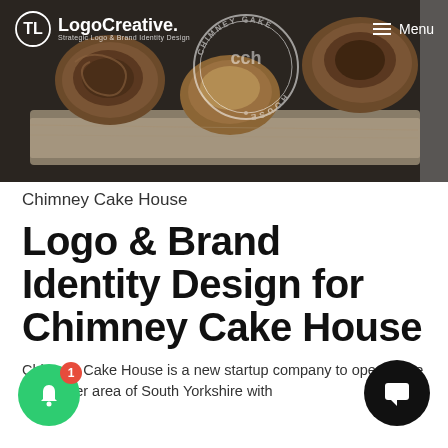[Figure (photo): Hero banner image showing chimney cakes (rolled pastries) on a wooden board with dark background. Overlaid with a circular stamp logo reading 'CHIMNEY CAKE HOUSE' with 'CCH' monogram. Navigation bar with Logo Creative brand and Menu button visible at top.]
Logo Creative. Strategic Logo & Brand Identity Design
Chimney Cake House
Logo & Brand Identity Design for Chimney Cake House
Chimney Cake House is a new startup company to open in the Doncaster area of South Yorkshire with